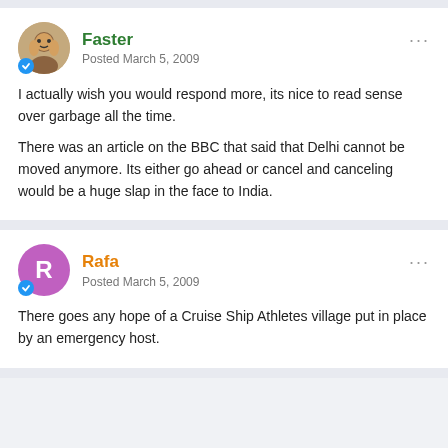Faster
Posted March 5, 2009
I actually wish you would respond more, its nice to read sense over garbage all the time.

There was an article on the BBC that said that Delhi cannot be moved anymore. Its either go ahead or cancel and canceling would be a huge slap in the face to India.
Rafa
Posted March 5, 2009
There goes any hope of a Cruise Ship Athletes village put in place by an emergency host.